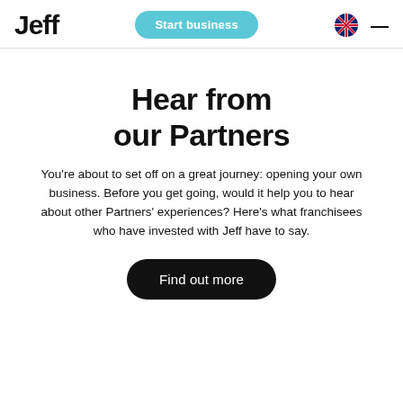Jeff | Start business
Hear from our Partners
You're about to set off on a great journey: opening your own business. Before you get going, would it help you to hear about other Partners' experiences? Here's what franchisees who have invested with Jeff have to say.
Find out more